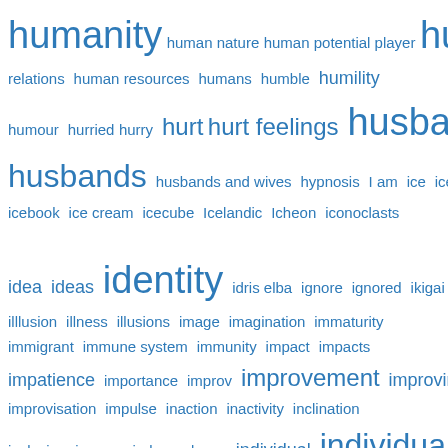[Figure (infographic): Word cloud of concepts starting with 'h' and 'i', displayed in various font sizes in blue, indicating frequency/importance. Words include: humanity, human nature, human potential player, human relations, human resources, humans, humble, humility, humour, hurried, hurry, hurt, hurt feelings, husband, husbands, husbands and wives, hypnosis, I am, ice, iceberg, icebook, ice cream, icecube, Icelandic, Icheon, iconoclasts, idea, ideas, identity, idris elba, ignore, ignored, ikigai, illlusion, illness, illusions, image, imagination, immaturity, immigrant, immune system, immunity, impact, impacts, impatience, importance, improv, improvement, improving, improvisation, impulse, inaction, inactivity, inclination, inclusion, income, independence, individual, individuality, individuals, inertia, infants, infection, infidelity, infinite waters, influence, information, inhibitions, initiative, injured veterans, injury, injustice, ink, inner peace, innocence, insanity, insecure, insecurities, insecurity, in shape, inside out, insight, insomnia, inspiration, inspirational quote, inspiring quotes, insult, insults, integrity, intellectual, intelligence, intense pain, intention, interest, interests, internal dialogue, international day of happiness, internet, interpersonal skills]